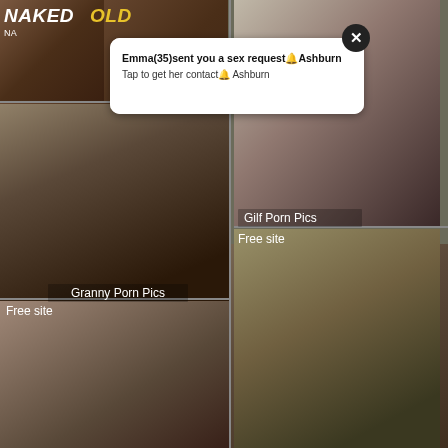[Figure (screenshot): Adult website screenshot showing a grid of explicit photographs with a popup notification overlay reading 'Emma(35)sent you a sex request Ashburn / Tap to get her contact Ashburn', a close button, and photo grid labels including 'Granny Porn Pics', 'Gilf Porn Pics', and 'Free site' overlays on various images. Site logo reads 'NAKED' in white and gold at top left.]